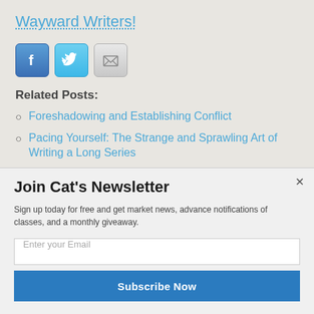Wayward Writers!
[Figure (other): Social media icons: Facebook, Twitter, Email/envelope]
Related Posts:
Foreshadowing and Establishing Conflict
Pacing Yourself: The Strange and Sprawling Art of Writing a Long Series
Join Cat's Newsletter
Sign up today for free and get market news, advance notifications of classes, and a monthly giveaway.
Enter your Email
Subscribe Now